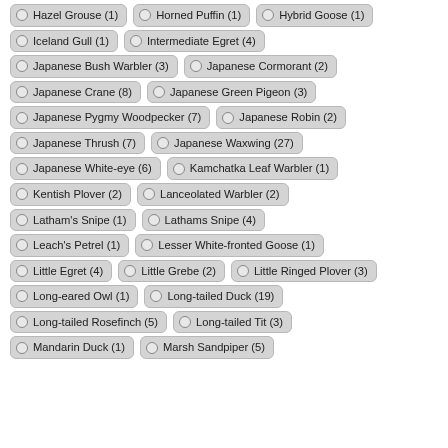Hazel Grouse (1)
Horned Puffin (1)
Hybrid Goose (1)
Iceland Gull (1)
Intermediate Egret (4)
Japanese Bush Warbler (3)
Japanese Cormorant (2)
Japanese Crane (8)
Japanese Green Pigeon (3)
Japanese Pygmy Woodpecker (7)
Japanese Robin (2)
Japanese Thrush (7)
Japanese Waxwing (27)
Japanese White-eye (6)
Kamchatka Leaf Warbler (1)
Kentish Plover (2)
Lanceolated Warbler (2)
Latham's Snipe (1)
Lathams Snipe (4)
Leach's Petrel (1)
Lesser White-fronted Goose (1)
Little Egret (4)
Little Grebe (2)
Little Ringed Plover (3)
Long-eared Owl (1)
Long-tailed Duck (19)
Long-tailed Rosefinch (5)
Long-tailed Tit (3)
Mandarin Duck (1)
Marsh Sandpiper (5)